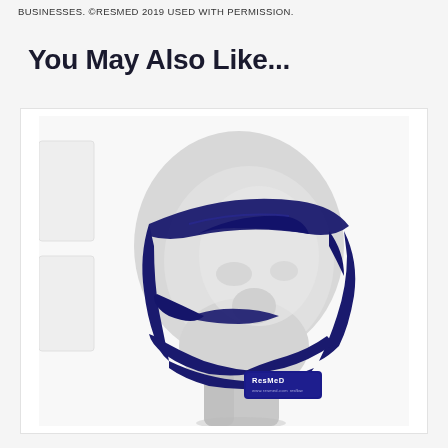BUSINESSES. ©RESMED 2019 USED WITH PERMISSION.
You May Also Like...
[Figure (photo): A mannequin head wearing a ResMed CPAP full-face mask headgear in navy blue, shown from a side-front angle. The headgear has navy blue straps wrapping around the head with a ResMed branded label visible on the chin strap area.]